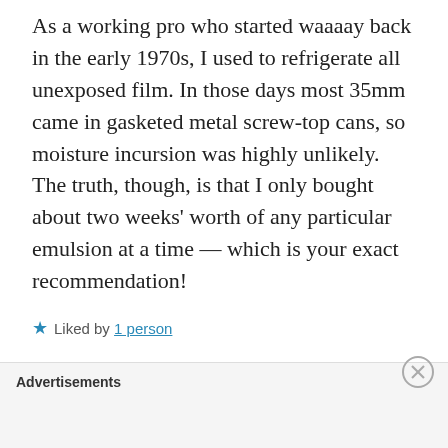As a working pro who started waaaay back in the early 1970s, I used to refrigerate all unexposed film. In those days most 35mm came in gasketed metal screw-top cans, so moisture incursion was highly unlikely. The truth, though, is that I only bought about two weeks’ worth of any particular emulsion at a time — which is your exact recommendation!
★ Liked by 1 person
REPLY
JOHNNY MARTYR
Advertisements